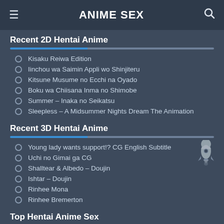ANIME SEX
Recent 2D Hentai Anime
Kisaku Reiwa Edition
Iinchou wa Saimin Appli wo Shinjiteru
Kitsune Musume no Ecchi na Oyado
Boku wa Chiisana Inma no Shimobe
Summer – Inaka no Seikatsu
Sleepless – A Midsummer Nights Dream The Animation
Recent 3D Hentai Anime
Young lady wants support!? CG English Subtitle
Uchi no Gimai ga CG
Shalltear & Albedo – Doujin
Ishtar – Doujin
Rinhee Mona
Rinhee Bremerton
Top Hentai Anime Sex
Boshi Koukan
Okaasan ni Hassha!
Kemonofuckers THE ANIMATION